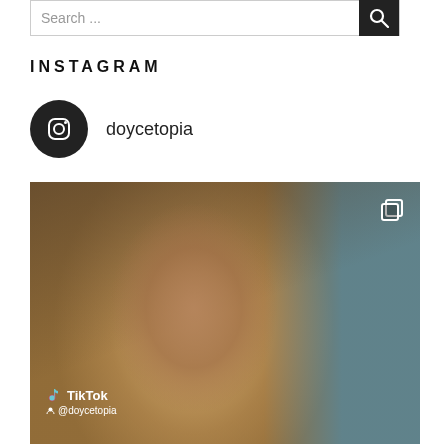Search ...
INSTAGRAM
doycetopia
[Figure (photo): A selfie-style video still of a middle-aged man with a grey beard looking at camera with a furrowed brow. Background shows yellow netting/mesh and blue sky. TikTok watermark in bottom left showing @doycetopia. Stacked squares icon in top right corner.]